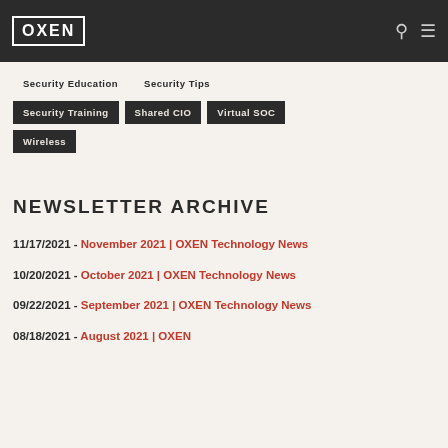OXEN
Security Education
Security Tips
Security Training
Shared CIO
Virtual SOC
Wireless
NEWSLETTER ARCHIVE
11/17/2021 - November 2021 | OXEN Technology News
10/20/2021 - October 2021 | OXEN Technology News
09/22/2021 - September 2021 | OXEN Technology News
08/18/2021 - August 2021 | OXEN